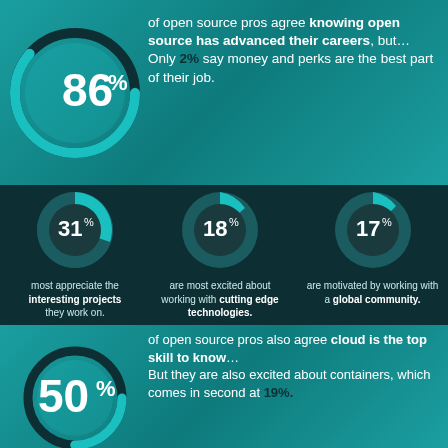[Figure (donut-chart): 86%]
of open source pros agree knowing open source has advanced their careers, but... Only 2% say money and perks are the best part of their job.
[Figure (donut-chart): 31%]
most appreciate the interesting projects they work on.
[Figure (donut-chart): 18%]
are most excited about working with cutting edge technologies.
[Figure (donut-chart): 17%]
are motivated by working with a global community.
[Figure (donut-chart): 50%]
of open source pros also agree cloud is the top skill to know... But they are also excited about containers, which comes in second at 19%.